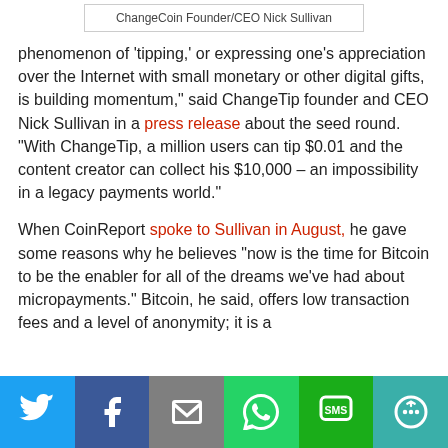ChangeCoin Founder/CEO Nick Sullivan
phenomenon of ‘tipping,’ or expressing one’s appreciation over the Internet with small monetary or other digital gifts, is building momentum,” said ChangeTip founder and CEO Nick Sullivan in a press release about the seed round. “With ChangeTip, a million users can tip $0.01 and the content creator can collect his $10,000 – an impossibility in a legacy payments world.”
When CoinReport spoke to Sullivan in August, he gave some reasons why he believes “now is the time for Bitcoin to be the enabler for all of the dreams we’ve had about micropayments.” Bitcoin, he said, offers low transaction fees and a level of anonymity; it is a
[Figure (infographic): Social share bar with Twitter, Facebook, Email, WhatsApp, SMS, and More buttons in colored blocks]